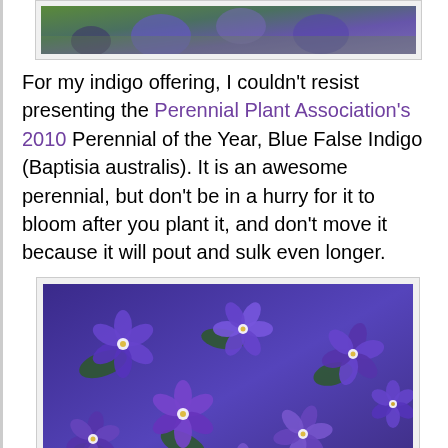[Figure (photo): Partial view of indigo/blue flowers at the top of the page]
For my indigo offering, I couldn't resist presenting the Perennial Plant Association's 2010 Perennial of the Year, Blue False Indigo (Baptisia australis). It is an awesome perennial, but don't be in a hurry for it to bloom after you plant it, and don't move it because it will pout and sulk even longer.
[Figure (photo): Dense cluster of purple clematis flowers with white stamens and green leaves]
We do clematis really, really well here, because of the cool dampness that keeps the roots happy, and because we work our way out of the fog in time to bathe most of the species and hybrids we have in warm sunlight. I think this is